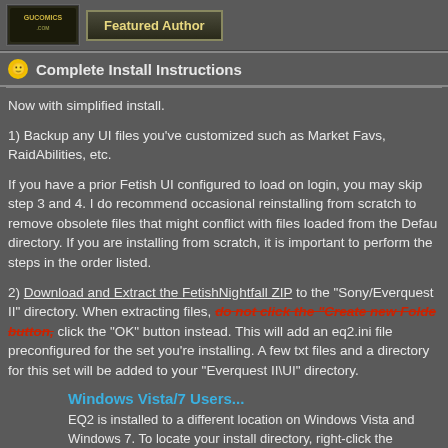[Figure (logo): gucomics.com logo and Featured Author button]
Complete Install Instructions
Now with simplified install.
1) Backup any UI files you've customized such as Market Favs, RaidAbilities, etc.
If you have a prior Fetish UI configured to load on login, you may skip step 3 and 4. I do recommend occasional reinstalling from scratch to remove obsolete files that might conflict with files loaded from the Default directory. If you are installing from scratch, it is important to perform the steps in the order listed.
2) Download and Extract the FetishNightfall ZIP to the "Sony/Everquest II" directory. When extracting files, do not click the "Create new Folder" button, click the "OK" button instead. This will add an eq2.ini file preconfigured for the set you're installing. A few txt files and a directory for this set will be added to your "Everquest II\UI" directory.
Windows Vista/7 Users...
EQ2 is installed to a different location on Windows Vista and Windows 7. To locate your install directory, right-click the EverQuest II shortcut you use to launch the game, choose "Properties" from the menu. The path listed under the "Start in" box is where you need to extract the Fetish ZIP.
3) Download and install Microsoft .Net 2.0. You must have 2.0 in all...